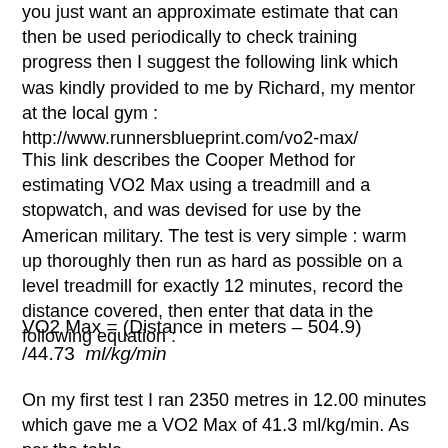you just want an approximate estimate that can then be used periodically to check training progress then I suggest the following link which was kindly provided to me by Richard, my mentor at the local gym : http://www.runnersblueprint.com/vo2-max/
This link describes the Cooper Method for estimating VO2 Max using a treadmill and a stopwatch, and was devised for use by the American military. The test is very simple : warm up thoroughly then run as hard as possible on a level treadmill for exactly 12 minutes, record the distance covered, then enter that data in the following equation :
On my first test I ran 2350 metres in 12.00 minutes which gave me a VO2 Max of 41.3 ml/kg/min. As per the table